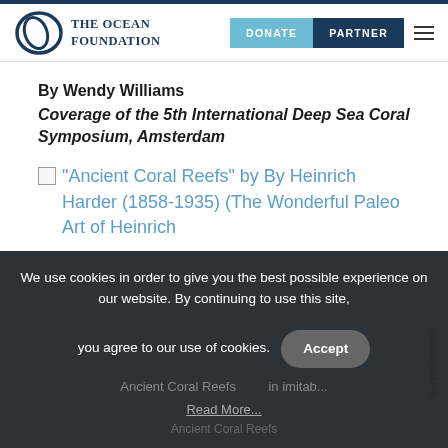The Ocean Foundation | DONATE | PARTNER
By Wendy Williams
Coverage of the 5th International Deep Sea Coral Symposium, Amsterdam
[Figure (illustration): Broken image placeholder with link text: "Ancient Coral Reefs" by By Heinrich Harder (1858-1935) (The Wonderful Paleo Art of Heinrich]
We use cookies in order to give you the best possible experience on our website. By continuing to use this site, you agree to our use of cookies.
Read More...